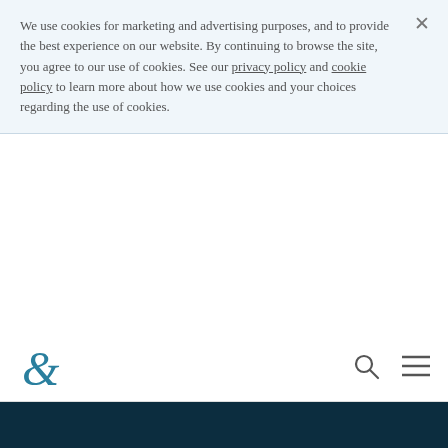We use cookies for marketing and advertising purposes, and to provide the best experience on our website. By continuing to browse the site, you agree to our use of cookies. See our privacy policy and cookie policy to learn more about how we use cookies and your choices regarding the use of cookies.
[Figure (logo): Baker McKenzie ampersand logo in teal]
Business Support Services Companies In Peru
(855) 603-5752